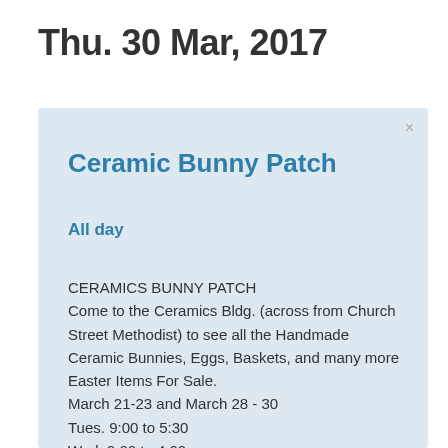Thu. 30 Mar, 2017
Ceramic Bunny Patch
All day
CERAMICS BUNNY PATCH
Come to the Ceramics Bldg. (across from Church Street Methodist) to see all the Handmade Ceramic Bunnies, Eggs, Baskets, and many more Easter Items For Sale.
March 21-23 and March 28 - 30
Tues. 9:00 to 5:30
Wed. 9:00 to 4:00...
Thurs. 7:00 pm to 10:00 pm
Any questions call Candi at 874-2143 or 412-8550